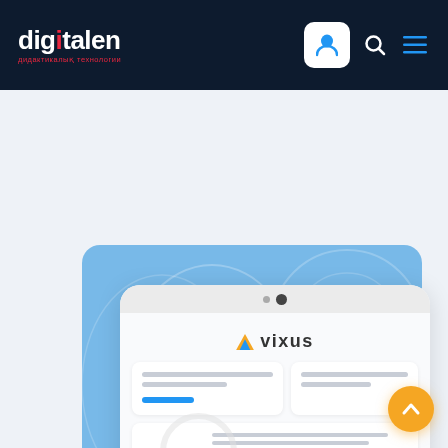[Figure (screenshot): Website header navigation bar with 'digitalen' logo (dark navy background), a white user account button, search icon, and hamburger menu icon]
[Figure (screenshot): Web page content area showing a light blue decorative card with circular patterns and a phone/tablet mockup displaying the 'vixus' app interface with content cards and a blue CTA button. An orange scroll-to-top button appears in the bottom right.]